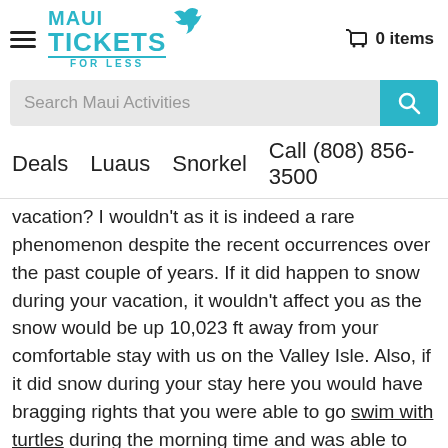Maui Tickets For Less — 0 items
Search Maui Activities
Deals   Luaus   Snorkel   Call (808) 856-3500
vacation? I wouldn't as it is indeed a rare phenomenon despite the recent occurrences over the past couple of years. If it did happen to snow during your vacation, it wouldn't affect you as the snow would be up 10,023 ft away from your comfortable stay with us on the Valley Isle. Also, if it did snow during your stay here you would have bragging rights that you were able to go swim with turtles during the morning time and was able to make a snowman during sunset on the same day on the same island!